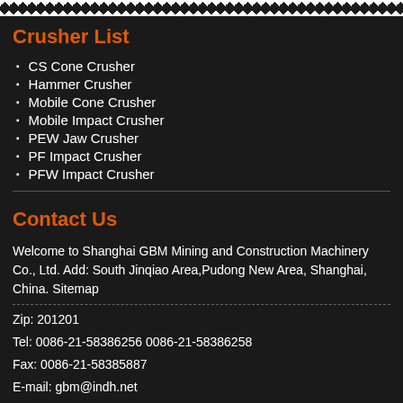Crusher List
CS Cone Crusher
Hammer Crusher
Mobile Cone Crusher
Mobile Impact Crusher
PEW Jaw Crusher
PF Impact Crusher
PFW Impact Crusher
Contact Us
Welcome to Shanghai GBM Mining and Construction Machinery Co., Ltd. Add: South Jinqiao Area,Pudong New Area, Shanghai, China. Sitemap
Zip: 201201
Tel: 0086-21-58386256 0086-21-58386258
Fax: 0086-21-58385887
E-mail: gbm@indh.net